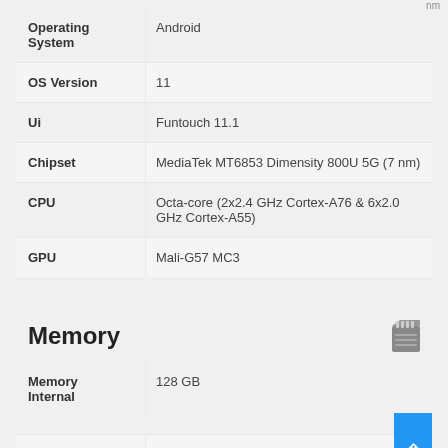nm
| Spec | Value |
| --- | --- |
| Operating System | Android |
| OS Version | 11 |
| Ui | Funtouch 11.1 |
| Chipset | MediaTek MT6853 Dimensity 800U 5G (7 nm) |
| CPU | Octa-core (2x2.4 GHz Cortex-A76 & 6x2.0 GHz Cortex-A55) |
| GPU | Mali-G57 MC3 |
Memory
| Spec | Value |
| --- | --- |
| Memory Internal | 128 GB |
| Memory External | microSDXC (uses shared SIM slot) |